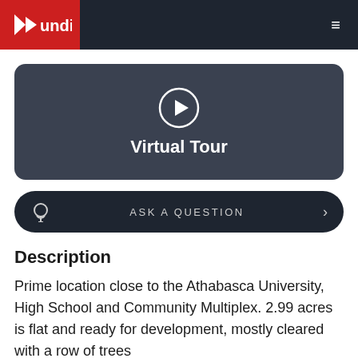[Figure (logo): Mundi logo with red background and white play-like icon, white text 'mundi']
[Figure (other): Virtual Tour button with play circle icon and text 'Virtual Tour' on dark rounded rectangle]
[Figure (other): Ask a Question button with headset icon and chevron on dark pill-shaped button]
Description
Prime location close to the Athabasca University, High School and Community Multiplex. 2.99 acres is flat and ready for development, mostly cleared with a row of trees along the perimeter of the lot.